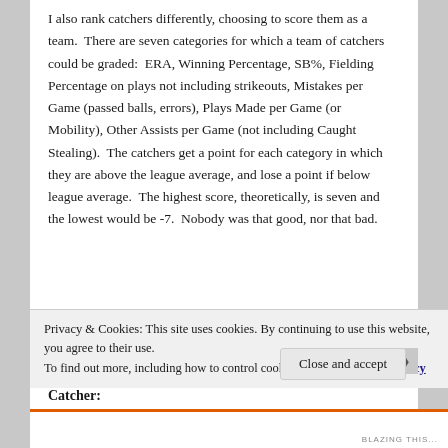I also rank catchers differently, choosing to score them as a team. There are seven categories for which a team of catchers could be graded: ERA, Winning Percentage, SB%, Fielding Percentage on plays not including strikeouts, Mistakes per Game (passed balls, errors), Plays Made per Game (or Mobility), Other Assists per Game (not including Caught Stealing). The catchers get a point for each category in which they are above the league average, and lose a point if below league average. The highest score, theoretically, is seven and the lowest would be -7. Nobody was that good, nor that bad.
Catcher:
Privacy & Cookies: This site uses cookies. By continuing to use this website, you agree to their use.
To find out more, including how to control cookies, see here: Cookie Policy